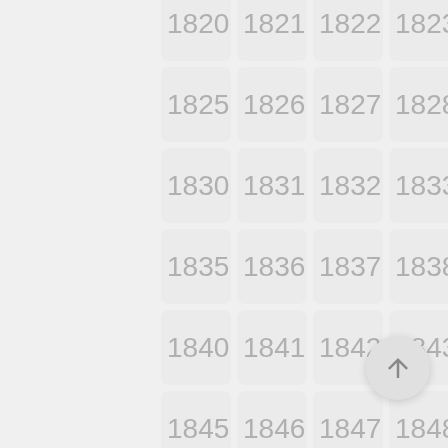[Figure (other): A grid of year numbers from 1820 to 1874 arranged in rounded rectangle cells, displayed in a 5-column layout with light gray styling. A floating action button with an upward arrow is positioned at the bottom right.]